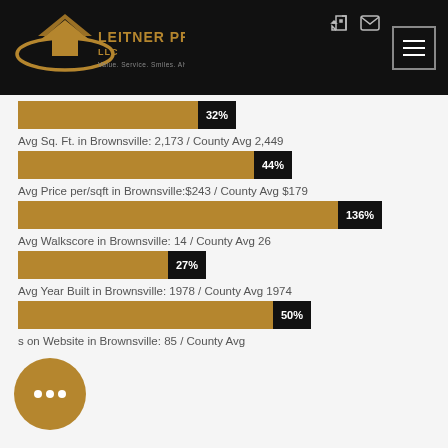[Figure (logo): Leitner Properties LLC logo on black header background]
[Figure (bar-chart): 32% bar]
Avg Sq. Ft. in Brownsville: 2,173 / County Avg 2,449
[Figure (bar-chart): 44% bar]
Avg Price per/sqft in Brownsville:$243 / County Avg $179
[Figure (bar-chart): 136% bar]
Avg Walkscore in Brownsville: 14 / County Avg 26
[Figure (bar-chart): 27% bar]
Avg Year Built in Brownsville: 1978 / County Avg 1974
[Figure (bar-chart): 50% bar]
s on Website in Brownsville: 85 / County Avg